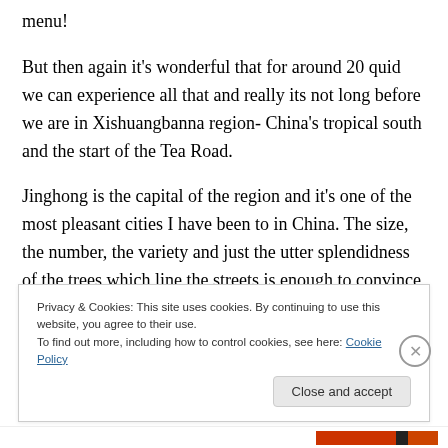menu!
But then again it’s wonderful that for around 20 quid we can experience all that and really its not long before we are in Xishuangbanna region- China’s tropical south and the start of the Tea Road.
Jinghong is the capital of the region and it’s one of the most pleasant cities I have been to in China. The size, the number, the variety and just the utter splendidness of the trees which line the streets is enough to convince you that this must be a lovely place to live. Conversations with residents suggest that indeed it was
Privacy & Cookies: This site uses cookies. By continuing to use this website, you agree to their use.
To find out more, including how to control cookies, see here: Cookie Policy